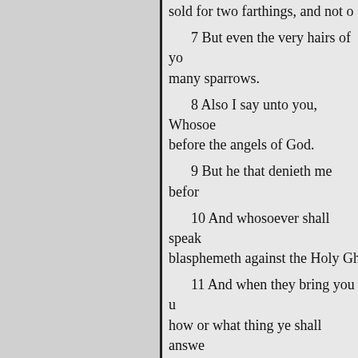sold for two farthings, and not o
7 But even the very hairs of yo many sparrows.
8 Also I say unto you, Whosoever before the angels of God.
9 But he that denieth me befor
10 And whosoever shall speak blasphemeth against the Holy Gh
11 And when they bring you u how or what thing ye shall answe
say :
12 For the Holy Ghost sha teach you in the same hour wh ye ought to say.
13 And one of the company sa
« Edellinen